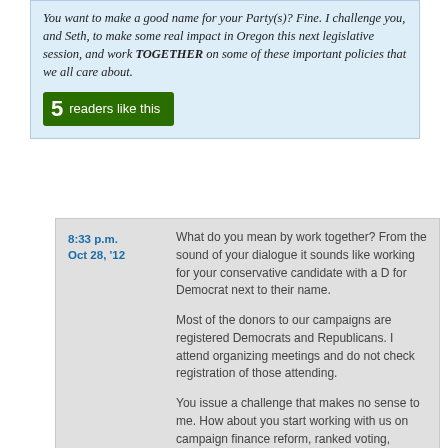You want to make a good name for your Party(s)? Fine. I challenge you, and Seth, to make some real impact in Oregon this next legislative session, and work TOGETHER on some of these important policies that we all care about.
5 readers like this
8:33 p.m. Oct 28, '12
What do you mean by work together? From the sound of your dialogue it sounds like working for your conservative candidate with a D for Democrat next to their name.

Most of the donors to our campaigns are registered Democrats and Republicans. I attend organizing meetings and do not check registration of those attending.

You issue a challenge that makes no sense to me. How about you start working with us on campaign finance reform, ranked voting, redistricting reform, public financing, increased transparency, ending coal exports and selling water rights to Nestle. How about you work with us to improve direct democracy rather than stifle it? Bob did not violate the rules and signatures were thrown out while ignoring voter intent.

Why are you so averse to evaluating our rules in light of voter intent? That is all Bob is asking for. Right now voter intent is not the basic measure. That means the will of the voter is being suppressed.

Bob is fine rejecting duplicates and forgeries, too. If you remove those cases, his measure still would have qualified. Ballots are not thrown out when signatures appear to not match. They contact the voter to double check. Petitions could do that too. Further, whole sheets are discarded due to minor pen slips or minor errors by the circulator in the current